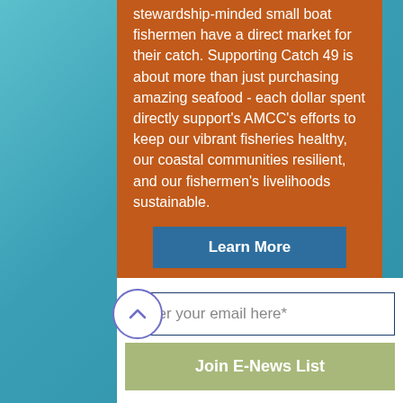stewardship-minded small boat fishermen have a direct market for their catch. Supporting Catch 49 is about more than just purchasing amazing seafood - each dollar spent directly support's AMCC's efforts to keep our vibrant fisheries healthy, our coastal communities resilient, and our fishermen's livelihoods sustainable.
Learn More
Enter your email here*
Join E-News List